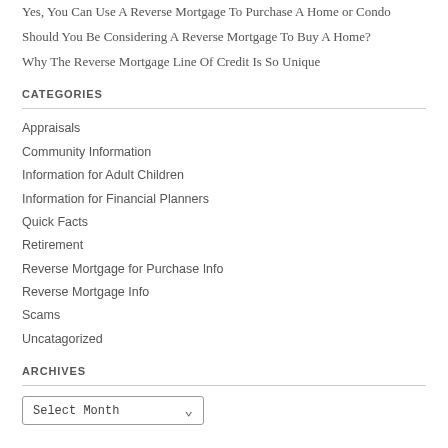Yes, You Can Use A Reverse Mortgage To Purchase A Home or Condo
Should You Be Considering A Reverse Mortgage To Buy A Home?
Why The Reverse Mortgage Line Of Credit Is So Unique
CATEGORIES
Appraisals
Community Information
Information for Adult Children
Information for Financial Planners
Quick Facts
Retirement
Reverse Mortgage for Purchase Info
Reverse Mortgage Info
Scams
Uncatagorized
ARCHIVES
Select Month